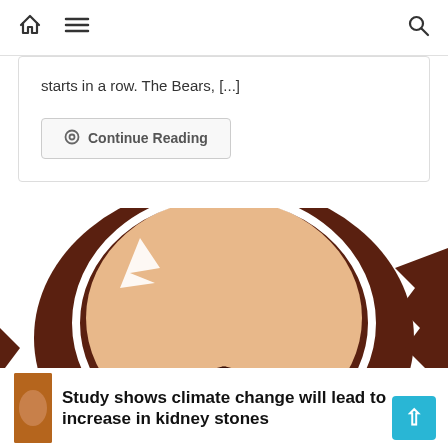Navigation bar with home, menu, and search icons
starts in a row. The Bears, [...]
Continue Reading
[Figure (illustration): Illustrated close-up of a bear's ear and head with graphic/comic art style in brown and tan colors]
Study shows climate change will lead to increase in kidney stones